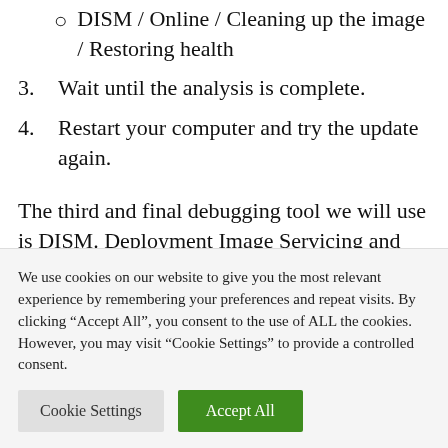DISM / Online / Cleaning up the image / Restoring health
3. Wait until the analysis is complete.
4. Restart your computer and try the update again.
The third and final debugging tool we will use is DISM. Deployment Image Servicing and Management is a tool for re-deploying a
We use cookies on our website to give you the most relevant experience by remembering your preferences and repeat visits. By clicking “Accept All”, you consent to the use of ALL the cookies. However, you may visit "Cookie Settings" to provide a controlled consent.